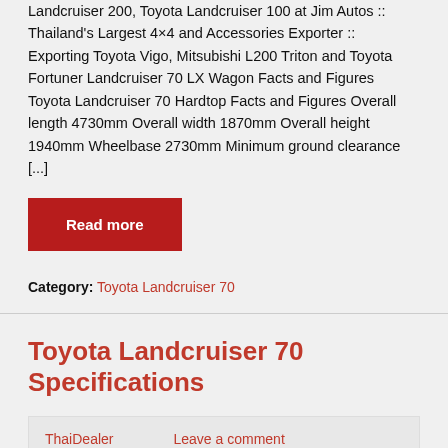Landcruiser 200, Toyota Landcruiser 100 at Jim Autos :: Thailand's Largest 4×4 and Accessories Exporter :: Exporting Toyota Vigo, Mitsubishi L200 Triton and Toyota Fortuner Landcruiser 70 LX Wagon Facts and Figures Toyota Landcruiser 70 Hardtop Facts and Figures Overall length 4730mm Overall width 1870mm Overall height 1940mm Wheelbase 2730mm Minimum ground clearance [...]
Read more
Category: Toyota Landcruiser 70
Toyota Landcruiser 70 Specifications
ThaiDealer   Leave a comment